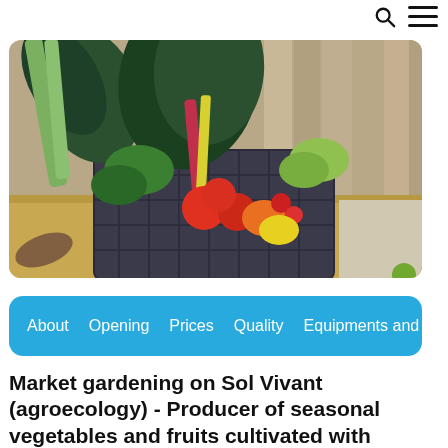Search | Menu
[Figure (photo): A plastic crate filled with fresh seasonal vegetables and fruits including chard, tomatoes, herbs, rhubarb, and other produce, placed on a wooden surface against a wooden fence backdrop]
About  Opening  Prices  Quality  Equipments and
Market gardening on Sol Vivant (agroecology) - Producer of seasonal vegetables and fruits cultivated with